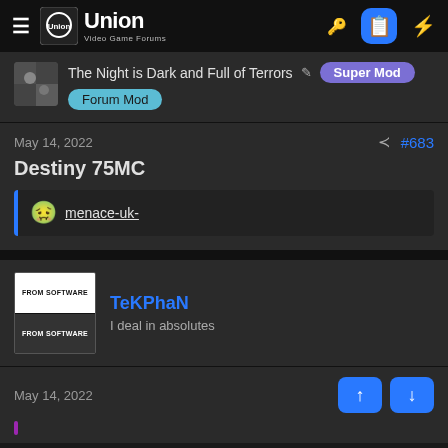Union Video Game Forums
The Night is Dark and Full of Terrors — Super Mod, Forum Mod
May 14, 2022  #683
Destiny 75MC
menace-uk-
TeKPhaN — I deal in absolutes
May 14, 2022